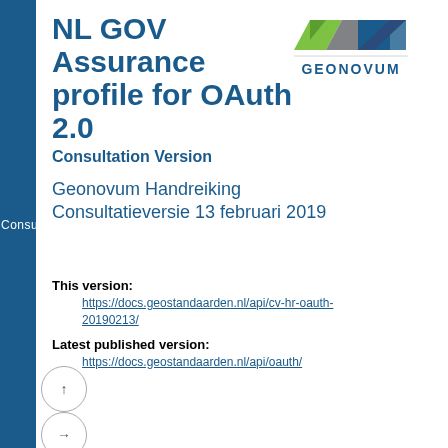Geonovum Consultatieversie
NL GOV Assurance profile for OAuth 2.0
[Figure (logo): Geonovum logo with geometric shapes in green, gray, and blue, with GEONOVUM text below]
Consultation Version
Geonovum Handreiking Consultatieversie 13 februari 2019
This version:
https://docs.geostandaarden.nl/api/cv-hr-oauth-20190213/
Latest published version:
https://docs.geostandaarden.nl/api/oauth/